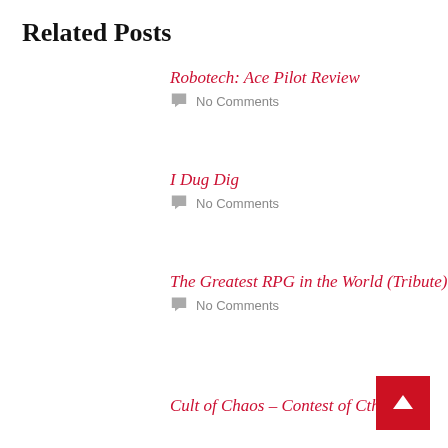Related Posts
Robotech: Ace Pilot Review
No Comments
I Dug Dig
No Comments
The Greatest RPG in the World (Tribute)
No Comments
Cult of Chaos – Contest of Cthulhu